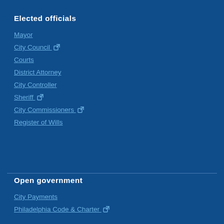Elected officials
Mayor
City Council [external link]
Courts
District Attorney
City Controller
Sheriff [external link]
City Commissioners [external link]
Register of Wills
Open government
City Payments
Philadelphia Code & Charter [external link]